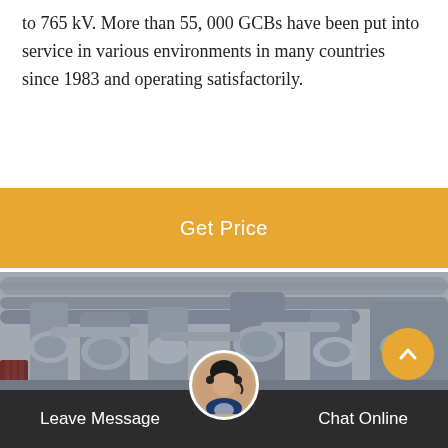to 765 kV. More than 55, 000 GCBs have been put into service in various environments in many countries since 1983 and operating satisfactorily.
[Figure (other): Orange 'Get Price' button banner]
[Figure (photo): Industrial electrical switchgear / gas circuit breaker equipment in a substation facility showing large grey cylindrical and pipe structures]
[Figure (other): Dark footer bar with 'Leave Message' on the left, a customer service avatar in the center, 'Chat Online' on the right, and an orange scroll-up button]